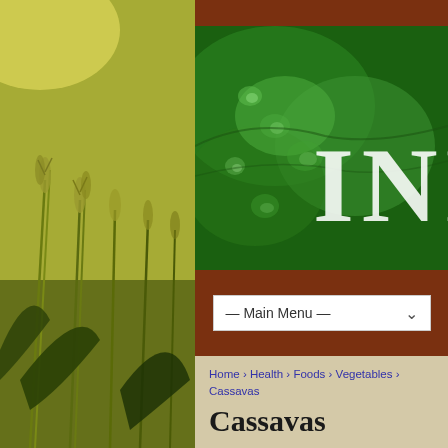[Figure (screenshot): Website header with green leaf/water-drop banner image showing partial text 'INN', brown navigation bar background, main menu dropdown, breadcrumb navigation, and Cassavas page title on beige background with wheat field background image on left side]
Home › Health › Foods › Vegetables › Cassavas
Cassavas